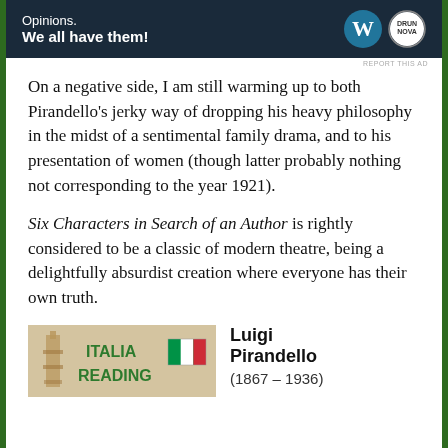[Figure (other): Advertisement banner with dark navy background reading 'Opinions. We all have them!' with WordPress and Druga logos on the right]
On a negative side, I am still warming up to both Pirandello's jerky way of dropping his heavy philosophy in the midst of a sentimental family drama, and to his presentation of women (though latter probably nothing not corresponding to the year 1921).
Six Characters in Search of an Author is rightly considered to be a classic of modern theatre, being a delightfully absurdist creation where everyone has their own truth.
[Figure (photo): Book cover image showing 'ITALIA READING' text with Italian flag and tower illustration]
Luigi Pirandello (1867 – 1936)